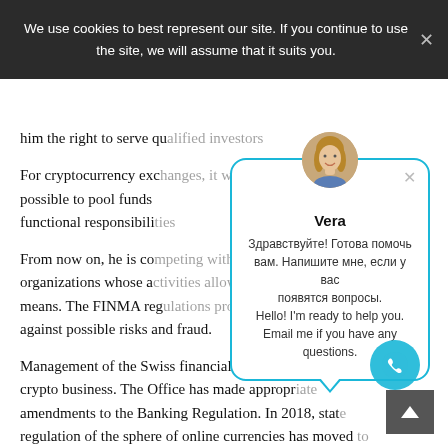We use cookies to best represent our site. If you continue to use the site, we will assume that it suits you.
him the right to serve qualified investors.
For cryptocurrency exc... possible to pool funds ... he functional responsibili...
From now on, he is co... organizations whose a... -fiat means. The FINMA reg... s against possible risks and fraud.
Management of the Swiss financial market leg... the crypto business. The Office has made appropr... amendments to the Banking Regulation. In 2018, stat... regulation of the sphere of online currencies has moved to...
[Figure (screenshot): Chat popup widget with avatar of a blonde woman named Vera, with greeting text in Russian and English: Здравствуйте! Готова помочь вам. Напишите мне, если у вас появятся вопросы. Hello! I'm ready to help you. Email me if you have any questions.]